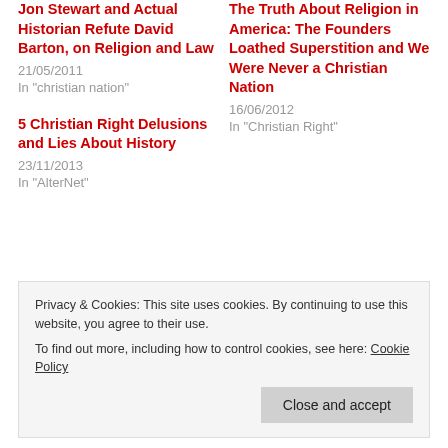Jon Stewart and Actual Historian Refute David Barton, on Religion and Law
21/05/2011
In "christian nation"
The Truth About Religion in America: The Founders Loathed Superstition and We Were Never a Christian Nation
16/06/2012
In "Christian Right"
5 Christian Right Delusions and Lies About History
23/11/2013
In "AlterNet"
Tagged: David Barton, David Barton is a liar, fake facts, Federalist
Privacy & Cookies: This site uses cookies. By continuing to use this website, you agree to their use.
To find out more, including how to control cookies, see here: Cookie Policy
Close and accept